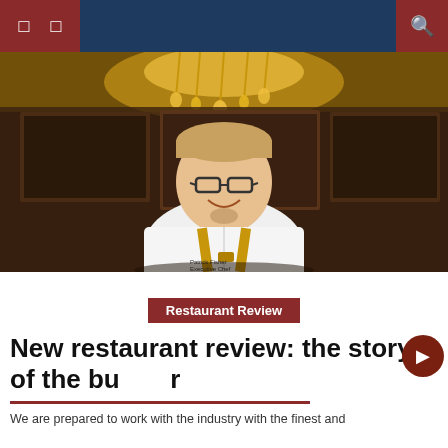Navigation bar with menu icons and search
[Figure (photo): Portrait photo of a smiling male chef wearing a white chef coat and yellow apron straps, standing in front of a warmly lit restaurant interior with hanging lights and shelves.]
Restaurant Review
New restaurant review: the story of the burger
We are prepared to work with the industry with the finest and